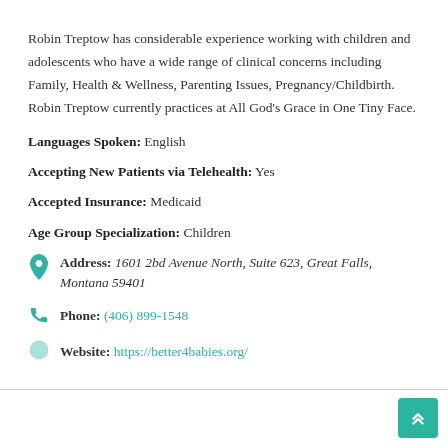Robin Treptow has considerable experience working with children and adolescents who have a wide range of clinical concerns including Family, Health & Wellness, Parenting Issues, Pregnancy/Childbirth. Robin Treptow currently practices at All God's Grace in One Tiny Face.
Languages Spoken: English
Accepting New Patients via Telehealth: Yes
Accepted Insurance: Medicaid
Age Group Specialization: Children
Address: 1601 2bd Avenue North, Suite 623, Great Falls, Montana 59401
Phone: (406) 899-1548
Website: https://better4babies.org/